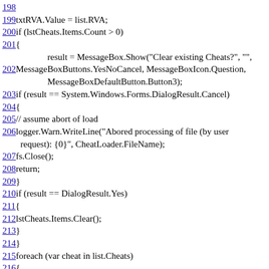198
199 txtRVA.Value = list.RVA;
200 if (lstCheats.Items.Count > 0)
201 {
    result = MessageBox.Show("Clear existing Cheats?", "",
202 MessageBoxButtons.YesNoCancel, MessageBoxIcon.Question,
    MessageBoxDefaultButton.Button3);
203 if (result == System.Windows.Forms.DialogResult.Cancel)
204 {
205 // assume abort of load
206 logger.Warn.WriteLine("Abored processing of file (by user request): {0}", CheatLoader.FileName);
207 fs.Close();
208 return;
209 }
210 if (result == DialogResult.Yes)
211 {
212 lstCheats.Items.Clear();
213 }
214 }
215 foreach (var cheat in list.Cheats)
216 {
217 ListViewItem li = new ListViewItem(cheat.CheatName);
218 li.SubItems.Add(new ListViewItem.ListViewSubItem(li, string.Format("0x{0:x8}", cheat.CheatAddress)));
219...